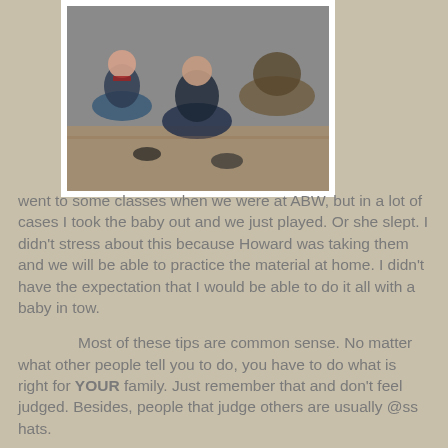[Figure (photo): A photograph showing people sitting on a floor, possibly at a dance or activity workshop, viewed from above/side angle.]
went to some classes when we were at ABW, but in a lot of cases I took the baby out and we just played. Or she slept. I didn't stress about this because Howard was taking them and we will be able to practice the material at home. I didn't have the expectation that I would be able to do it all with a baby in tow.
Most of these tips are common sense. No matter what other people tell you to do, you have to do what is right for YOUR family. Just remember that and don't feel judged. Besides, people that judge others are usually @ss hats.
Have any other tips for the traveling dance parents? Leave 'em in the comments! Thanks for reading.
Toss out and prosper!